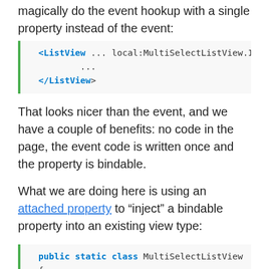magically do the event hookup with a single property instead of the event:
<ListView ... local:MultiSelectListView.IsMult
    ...
</ListView>
That looks nicer than the event, and we have a couple of benefits: no code in the page, the event code is written once and the property is bindable.
What we are doing here is using an attached property to “inject” a bindable property into an existing view type:
public static class MultiSelectListView
{
    public static readonly BindableProperty Is
        BindableProperty.CreateAttached(
            "IsMultiSelect",
            typeof(bool),
            typeof(ListView),
            false,
            propertyChanged: OnIsMultiSelectCh